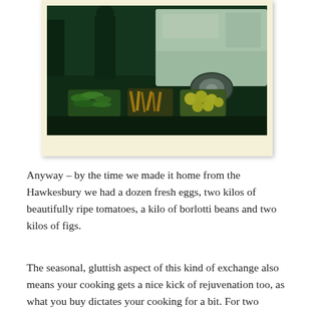[Figure (photo): A polaroid-style photo of a market stall scene: crates of vegetables and fruit (bananas/green beans, yellow/brown produce, small yellow apples) arranged on the ground in front of a white van. A person stands behind the crates. The image has a strong green tint with a dark, moody atmosphere.]
Anyway – by the time we made it home from the Hawkesbury we had a dozen fresh eggs, two kilos of beautifully ripe tomatoes, a kilo of borlotti beans and two kilos of figs.
The seasonal, gluttish aspect of this kind of exchange also means your cooking gets a nice kick of rejuvenation too, as what you buy dictates your cooking for a bit. For two people, for example, it takes a fair bit of imagination to get